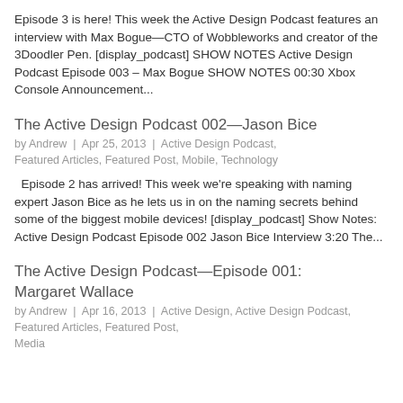Episode 3 is here! This week the Active Design Podcast features an interview with Max Bogue—CTO of Wobbleworks and creator of the 3Doodler Pen. [display_podcast] SHOW NOTES Active Design Podcast Episode 003 – Max Bogue SHOW NOTES 00:30 Xbox Console Announcement...
The Active Design Podcast 002—Jason Bice
by Andrew  |  Apr 25, 2013  |  Active Design Podcast, Featured Articles, Featured Post, Mobile, Technology
Episode 2 has arrived! This week we're speaking with naming expert Jason Bice as he lets us in on the naming secrets behind some of the biggest mobile devices! [display_podcast] Show Notes: Active Design Podcast Episode 002 Jason Bice Interview 3:20 The...
The Active Design Podcast—Episode 001: Margaret Wallace
by Andrew  |  Apr 16, 2013  |  Active Design, Active Design Podcast, Featured Articles, Featured Post, Media